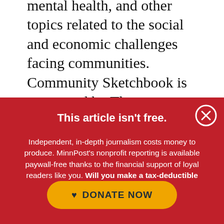mental health, and other topics related to the social and economic challenges facing communities. Community Sketchbook is sponsored by The Minneapolis Foundation. Email Cynthia at
This article isn't free.
Independent, in-depth journalism costs money to produce. MinnPost's nonprofit reporting is available paywall-free thanks to the financial support of loyal readers like you. Will you make a tax-deductible donation today?
[Figure (other): Yellow rounded button with heart icon and text DONATE NOW]